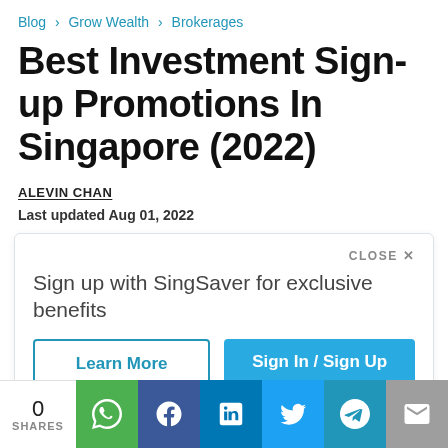Blog › Grow Wealth › Brokerages
Best Investment Sign-up Promotions In Singapore (2022)
ALEVIN CHAN
Last updated Aug 01, 2022
CLOSE ×
Sign up with SingSaver for exclusive benefits
Learn More    Sign In / Sign Up
[Figure (screenshot): Partially visible banner image at bottom of popup]
0 SHARES